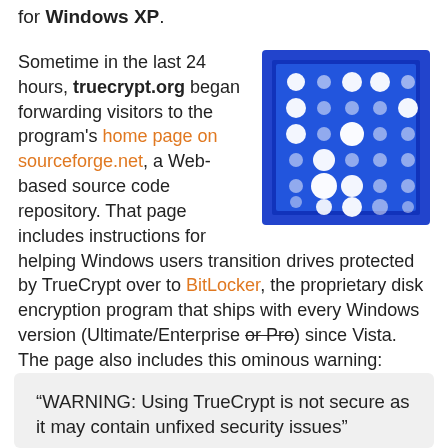for Windows XP.
Sometime in the last 24 hours, truecrypt.org began forwarding visitors to the program's home page on sourceforge.net, a Web-based source code repository. That page includes instructions for helping Windows users transition drives protected by TrueCrypt over to BitLocker, the proprietary disk encryption program that ships with every Windows version (Ultimate/Enterprise or Pro) since Vista. The page also includes this ominous warning:
[Figure (illustration): TrueCrypt software icon: a blue square with a grid of white circular dots/lights on a blue background, resembling a lock or key pad.]
“WARNING: Using TrueCrypt is not secure as it may contain unfixed security issues”